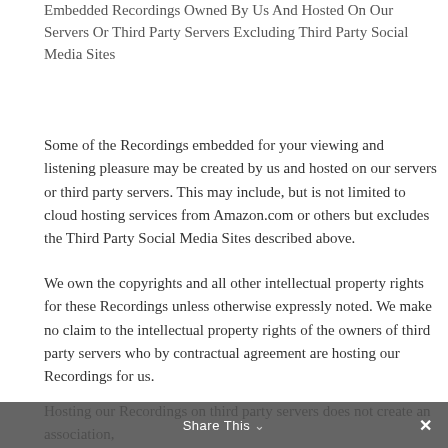Embedded Recordings Owned By Us And Hosted On Our Servers Or Third Party Servers Excluding Third Party Social Media Sites
Some of the Recordings embedded for your viewing and listening pleasure may be created by us and hosted on our servers or third party servers. This may include, but is not limited to cloud hosting services from Amazon.com or others but excludes the Third Party Social Media Sites described above.
We own the copyrights and all other intellectual property rights for these Recordings unless otherwise expressly noted. We make no claim to the intellectual property rights of the owners of third party servers who by contractual agreement are hosting our Recordings for us.
Hosting our Recordings on third party servers does not create an association, Share This joint venture, or